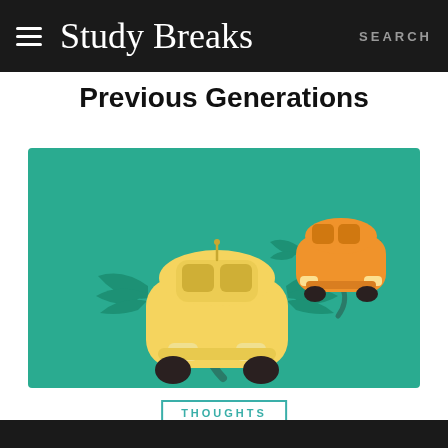Study Breaks   SEARCH
Previous Generations
[Figure (illustration): Illustration of two cartoon cars with wings on a teal/green background. A large yellow car is in the foreground facing the viewer, and a smaller orange car is flying in the upper right. Both have teal wings and dark tires, with swooping dark trails beneath them.]
THOUGHTS